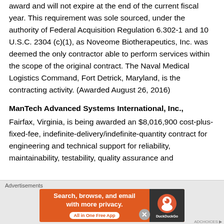award and will not expire at the end of the current fiscal year.  This requirement was sole sourced, under the authority of Federal Acquisition Regulation 6.302-1 and 10 U.S.C. 2304 (c)(1), as Noveome Biotherapeutics, Inc. was deemed the only contractor able to perform services within the scope of the original contract.  The Naval Medical Logistics Command, Fort Detrick, Maryland, is the contracting activity.  (Awarded August 26, 2016)
ManTech Advanced Systems International, Inc.,
Fairfax, Virginia, is being awarded an $8,016,900 cost-plus-fixed-fee, indefinite-delivery/indefinite-quantity contract for engineering and technical support for reliability, maintainability, testability, quality assurance and
[Figure (other): Advertisement banner: DuckDuckGo app promotion — 'Search, browse, and email with more privacy. All in One Free App' on orange background with DuckDuckGo logo on dark right panel]